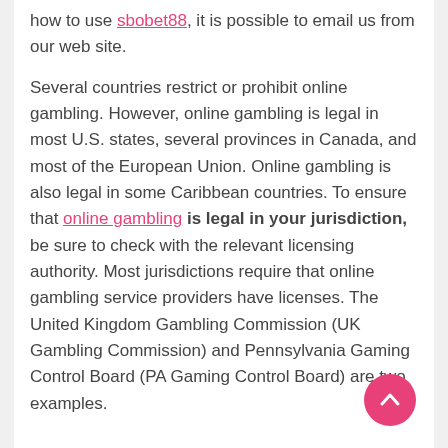how to use sbobet88, it is possible to email us from our web site.
Several countries restrict or prohibit online gambling. However, online gambling is legal in most U.S. states, several provinces in Canada, and most of the European Union. Online gambling is also legal in some Caribbean countries. To ensure that online gambling is legal in your jurisdiction, be sure to check with the relevant licensing authority. Most jurisdictions require that online gambling service providers have licenses. The United Kingdom Gambling Commission (UK Gambling Commission) and Pennsylvania Gaming Control Board (PA Gaming Control Board) are two examples.